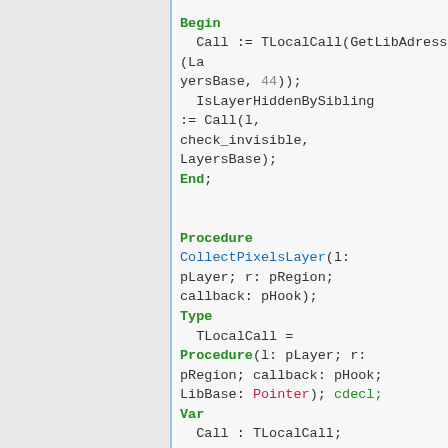[Figure (screenshot): Code snippet in Pascal-like language showing Begin/End blocks and a Procedure declaration for CollectPixelsLayer with type and var sections]